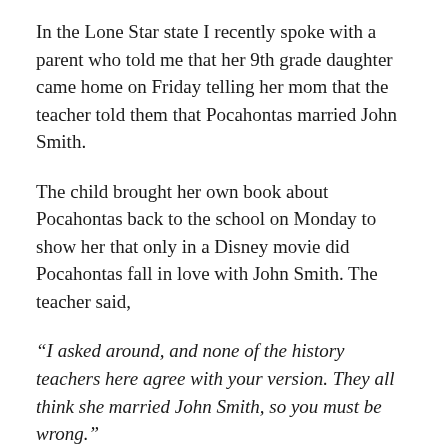In the Lone Star state I recently spoke with a parent who told me that her 9th grade daughter came home on Friday telling her mom that the teacher told them that Pocahontas married John Smith.
The child brought her own book about Pocahontas back to the school on Monday to show her that only in a Disney movie did Pocahontas fall in love with John Smith. The teacher said,
“I asked around, and none of the history teachers here agree with your version. They all think she married John Smith, so you must be wrong.”